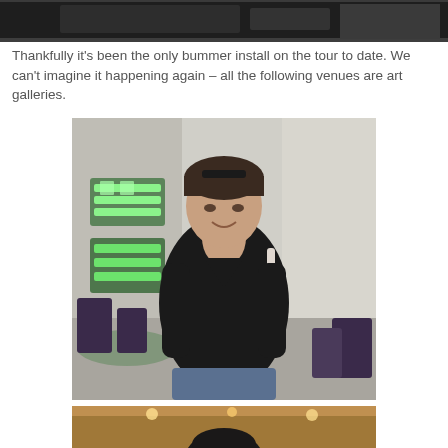[Figure (photo): Partial top edge of a dark photograph, cropped at the top of the page]
Thankfully it's been the only bummer install on the tour to date. We can't imagine it happening again – all the following venues are art galleries.
[Figure (photo): A woman in a black sweater smiling at camera, standing in a gallery space with green neon artwork on the wall behind her and dark chairs visible on either side]
[Figure (photo): Bottom portion of another photograph showing a person with dark hair in a warmly lit interior space, cropped at the bottom of the page]